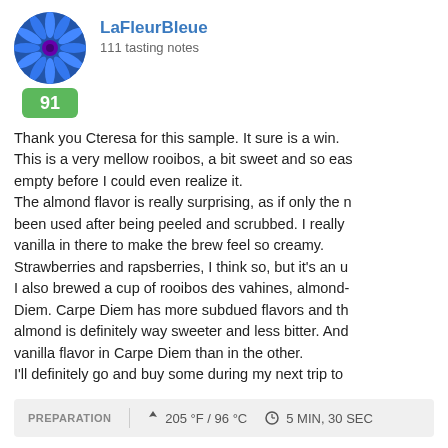[Figure (photo): Circular avatar photo of a blue flower (cornflower) with a green score badge showing 91 below it]
LaFleurBleue
111 tasting notes
Thank you Cteresa for this sample. It sure is a win. This is a very mellow rooibos, a bit sweet and so eas empty before I could even realize it.
The almond flavor is really surprising, as if only the n been used after being peeled and scrubbed. I really vanilla in there to make the brew feel so creamy.
Strawberries and rapsberries, I think so, but it's an u
I also brewed a cup of rooibos des vahines, almond- Diem. Carpe Diem has more subdued flavors and th almond is definitely way sweeter and less bitter. And vanilla flavor in Carpe Diem than in the other.
I'll definitely go and buy some during my next trip to
PREPARATION   ↓ 205 °F / 96 °C   ⊙ 5 MIN, 30 SEC
10 years ago | ♥ 3 likes | ● 7 comments